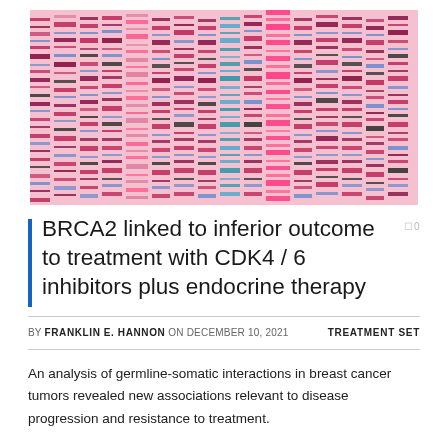[Figure (photo): Close-up photograph of a DNA gel electrophoresis or microarray image showing pink, red, blue, and dark horizontal bands arranged in vertical columns against a pink/white background — characteristic DNA sequencing visualization.]
BRCA2 linked to inferior outcome to treatment with CDK4 / 6 inhibitors plus endocrine therapy
BY FRANKLIN E. HANNON ON DECEMBER 10, 2021    TREATMENT SET
An analysis of germline-somatic interactions in breast cancer tumors revealed new associations relevant to disease progression and resistance to treatment.